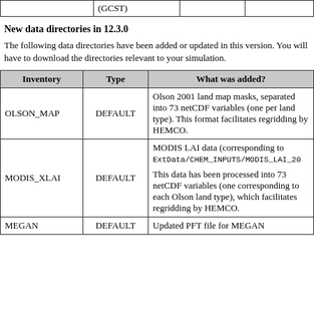|  | (GCST) |  |  |
| --- | --- | --- | --- |
|  | (GCST) |  |  |
New data directories in 12.3.0
The following data directories have been added or updated in this version. You will have to download the directories relevant to your simulation.
| Inventory | Type | What was added? |
| --- | --- | --- |
| OLSON_MAP | DEFAULT | Olson 2001 land map masks, separated into 73 netCDF variables (one per land type). This format facilitates regridding by HEMCO. |
| MODIS_XLAI | DEFAULT | MODIS LAI data (corresponding to ExtData/CHEM_INPUTS/MODIS_LAI_20...

This data has been processed into 73 netCDF variables (one corresponding to each Olson land type), which facilitates regridding by HEMCO. |
| MEGAN | DEFAULT | Updated PFT file for MEGAN |